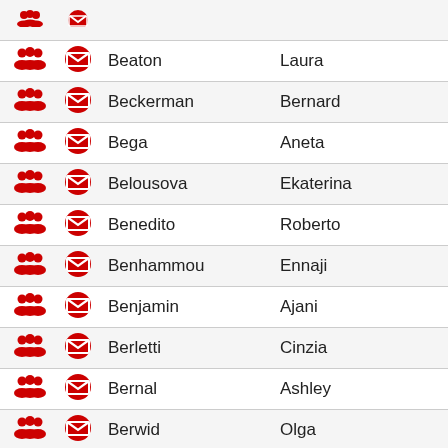|  |  | Last Name | First Name |
| --- | --- | --- | --- |
| [group] | [mail] | Beaton | Laura |
| [group] | [mail] | Beckerman | Bernard |
| [group] | [mail] | Bega | Aneta |
| [group] | [mail] | Belousova | Ekaterina |
| [group] | [mail] | Benedito | Roberto |
| [group] | [mail] | Benhammou | Ennaji |
| [group] | [mail] | Benjamin | Ajani |
| [group] | [mail] | Berletti | Cinzia |
| [group] | [mail] | Bernal | Ashley |
| [group] | [mail] | Berwid | Olga |
| [group] | [mail] | Bharosay | Boadnarine |
| [group] | [mail] | Bhika | Shailendra |